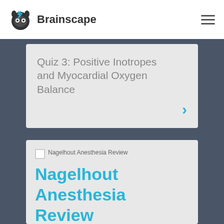[Figure (logo): Brainscape logo with owl icon and text 'Brainscape']
Quiz 3: Positive Inotropes and Myocardial Oxygen Balance
Nagelhout Anesthesia Review
FLASHCARD MAKER
HAROLD ROBINSON
654 Cards –
12 Decks –